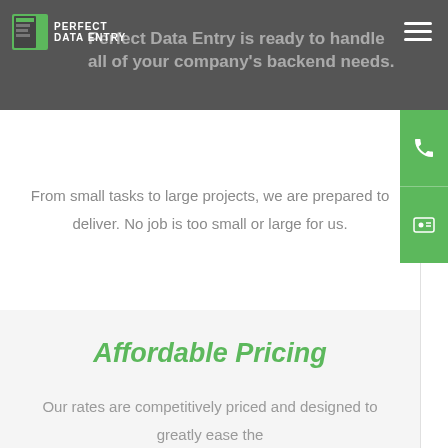Perfect Data Entry is ready to handle all of your company's backend needs.
From small tasks to large projects, we are prepared to deliver. No job is too small or large for us.
Affordable Pricing
Our rates are competitively priced and designed to greatly ease the